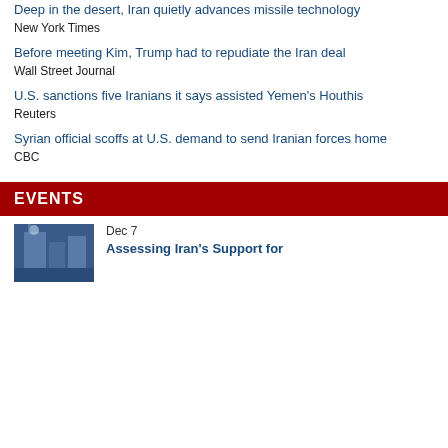Deep in the desert, Iran quietly advances missile technology
New York Times
Before meeting Kim, Trump had to repudiate the Iran deal
Wall Street Journal
U.S. sanctions five Iranians it says assisted Yemen's Houthis
Reuters
Syrian official scoffs at U.S. demand to send Iranian forces home
CBC
EVENTS
Dec 7
Assessing Iran's Support for
[Figure (photo): Thumbnail photo related to Iran event, showing a building or flag]